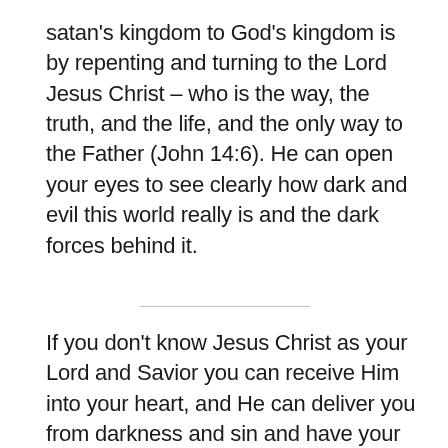satan's kingdom to God's kingdom is by repenting and turning to the Lord Jesus Christ – who is the way, the truth, and the life, and the only way to the Father (John 14:6). He can open your eyes to see clearly how dark and evil this world really is and the dark forces behind it.
If you don't know Jesus Christ as your Lord and Savior you can receive Him into your heart, and He can deliver you from darkness and sin and have your name written in His Book of Life.